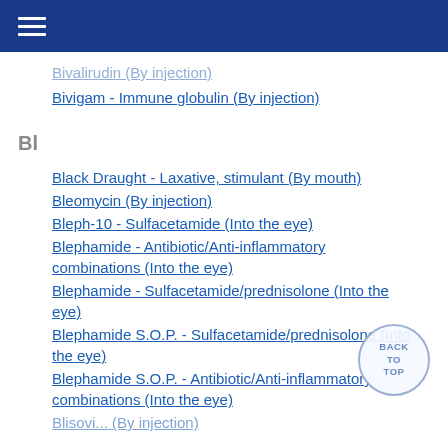≡
Bivalirudin (By injection)
Bivigam - Immune globulin (By injection)
Bl
Black Draught - Laxative, stimulant (By mouth)
Bleomycin (By injection)
Bleph-10 - Sulfacetamide (Into the eye)
Blephamide - Antibiotic/Anti-inflammatory combinations (Into the eye)
Blephamide - Sulfacetamide/prednisolone (Into the eye)
Blephamide S.O.P. - Sulfacetamide/prednisolone (Into the eye)
Blephamide S.O.P. - Antibiotic/Anti-inflammatory combinations (Into the eye)
Blisovi... (By injection)